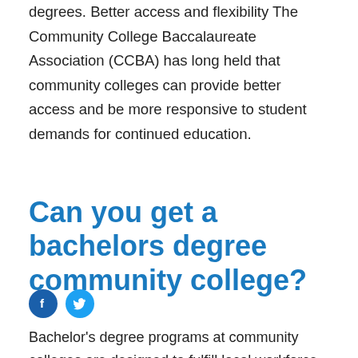degrees. Better access and flexibility The Community College Baccalaureate Association (CCBA) has long held that community colleges can provide better access and be more responsive to student demands for continued education.
Can you get a bachelors degree community college?
[Figure (other): Facebook and Twitter social share icons]
Bachelor's degree programs at community colleges are designed to fulfill local workforce demands and provide a diverse range of students with access to four-year degrees. Community colleges are